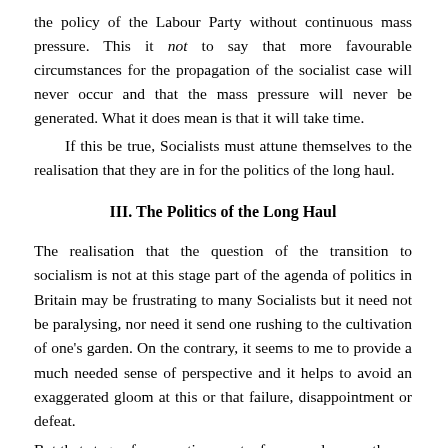the policy of the Labour Party without continuous mass pressure. This it not to say that more favourable circumstances for the propagation of the socialist case will never occur and that the mass pressure will never be generated. What it does mean is that it will take time.
If this be true, Socialists must attune themselves to the realisation that they are in for the politics of the long haul.
III. The Politics of the Long Haul
The realisation that the question of the transition to socialism is not at this stage part of the agenda of politics in Britain may be frustrating to many Socialists but it need not be paralysing, nor need it send one rushing to the cultivation of one's garden. On the contrary, it seems to me to provide a much needed sense of perspective and it helps to avoid an exaggerated gloom at this or that failure, disappointment or defeat.
But that stage of perspective must, of course, do more than